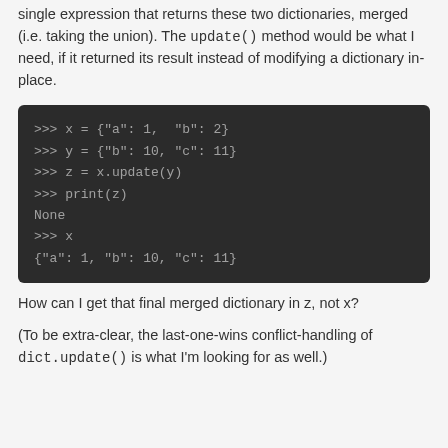I have two Python dictionaries, and I want to write a single expression that returns these two dictionaries, merged (i.e. taking the union). The update() method would be what I need, if it returned its result instead of modifying a dictionary in-place.
[Figure (screenshot): Code block showing Python REPL session: >>> x = {"a": 1, "b": 2} / >>> y = {"b": 10, "c": 11} / >>> z = x.update(y) / >>> print(z) / None / >>> x / {"a": 1, "b": 10, "c": 11}]
How can I get that final merged dictionary in z, not x?
(To be extra-clear, the last-one-wins conflict-handling of dict.update() is what I'm looking for as well.)